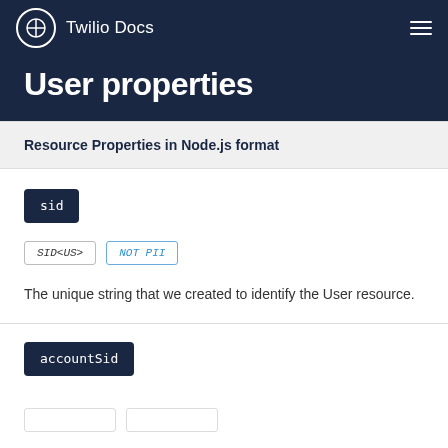Twilio Docs
User properties
Resource Properties in Node.js format
sid
SID<US>  NOT PII
The unique string that we created to identify the User resource.
accountSid